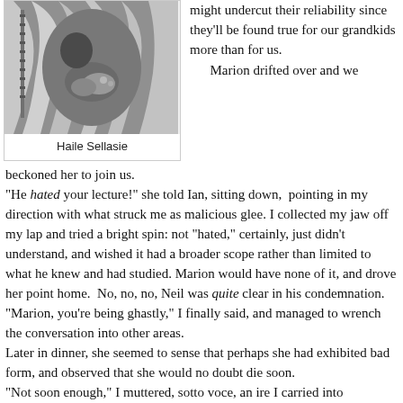[Figure (photo): Black and white photograph of Haile Sellasie, showing hands and draped clothing]
Haile Sellasie
might undercut their reliability since they'll be found true for our grandkids more than for us.
        Marion drifted over and we beckoned her to join us.
"He hated your lecture!" she told Ian, sitting down,  pointing in my direction with what struck me as malicious glee. I collected my jaw off my lap and tried a bright spin: not "hated," certainly, just didn't understand, and wished it had a broader scope rather than limited to what he knew and had studied. Marion would have none of it, and drove her point home.  No, no, no, Neil was quite clear in his condemnation.
"Marion, you're being ghastly," I finally said, and managed to wrench the conversation into other areas.
Later in dinner, she seemed to sense that perhaps she had exhibited bad form, and observed that she would no doubt die soon.
"Not soon enough," I muttered, sotto voce, an ire I carried into